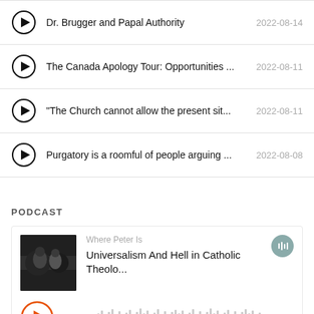Dr. Brugger and Papal Authority — 2022-08-14
The Canada Apology Tour: Opportunities ... — 2022-08-11
"The Church cannot allow the present sit... — 2022-08-11
Purgatory is a roomful of people arguing ... — 2022-08-08
PODCAST
Where Peter Is
Universalism And Hell in Catholic Theolo...
[Figure (other): Audio waveform player for podcast episode]
00:00 / ...